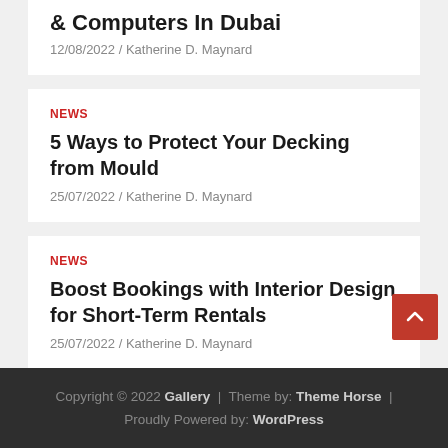& Computers In Dubai
12/08/2022 / Katherine D. Maynard
NEWS
5 Ways to Protect Your Decking from Mould
25/07/2022 / Katherine D. Maynard
NEWS
Boost Bookings with Interior Design for Short-Term Rentals
25/07/2022 / Katherine D. Maynard
Copyright © 2022 Gallery | Theme by: Theme Horse | Proudly Powered by: WordPress